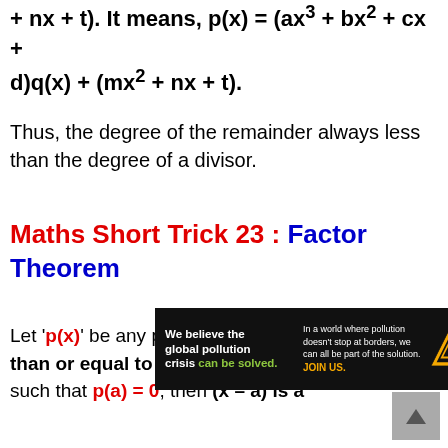+ nx + t). It means, p(x) = (ax³ + bx² + cx + d)q(x) + (mx² + nx + t).
Thus, the degree of the remainder always less than the degree of a divisor.
Maths Short Trick 23 : Factor Theorem
Let 'p(x)' be any polynomial of degree greater than or equal to one and a be any real number such that p(a) = 0, then (x – a) is a
[Figure (other): Advertisement banner for Pure Earth organization about global pollution crisis]
[Figure (other): Scroll-to-top button (grey triangle)]